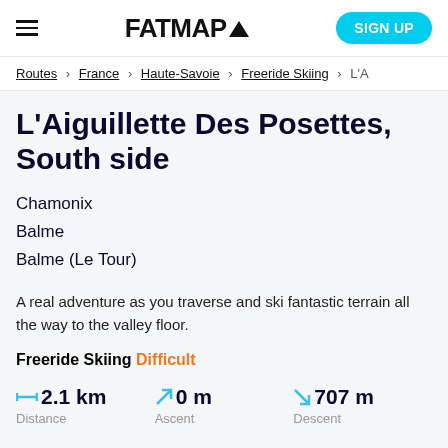FATMAP (logo) | SIGN UP
Routes > France > Haute-Savoie > Freeride Skiing > L'A
L'Aiguillette Des Posettes, South side
Chamonix
Balme
Balme (Le Tour)
A real adventure as you traverse and ski fantastic terrain all the way to the valley floor.
Freeride Skiing Difficult
2.1 km Distance | 0 m Ascent | 707 m Descent